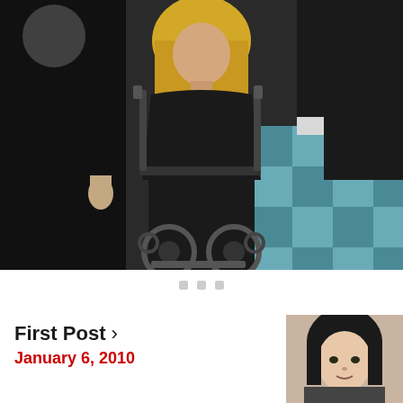[Figure (photo): A woman with long blonde hair seated in a wheelchair wearing a black outfit, with another person standing beside her in black clothing. Background shows a tiled floor and wall with papers/posters.]
[Figure (photo): A thumbnail photo of a woman with dark hair, appears to be a headshot or portrait.]
First Post >
January 6, 2010